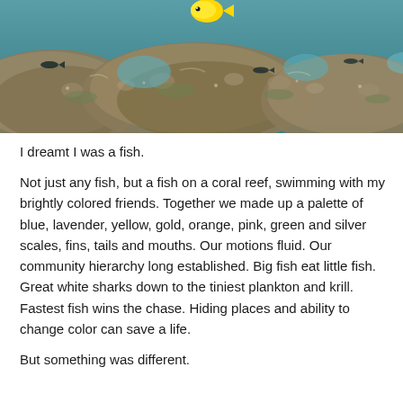[Figure (photo): Underwater photograph of a coral reef with rocky formations, teal/turquoise water, small dark fish visible, and a bright yellow fish near the top center of the image.]
I dreamt I was a fish.
Not just any fish, but a fish on a coral reef, swimming with my brightly colored friends. Together we made up a palette of blue, lavender, yellow, gold, orange, pink, green and silver scales, fins, tails and mouths. Our motions fluid. Our community hierarchy long established. Big fish eat little fish. Great white sharks down to the tiniest plankton and krill. Fastest fish wins the chase. Hiding places and ability to change color can save a life.
But something was different.